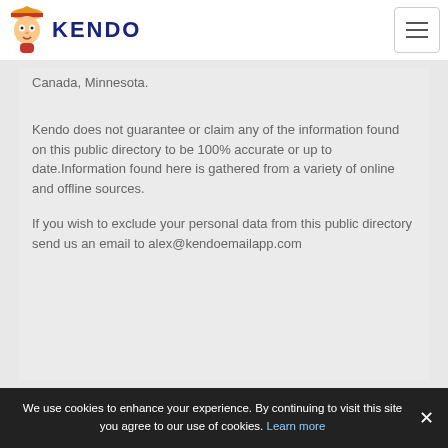KENDO
Canada, Minnesota.
Kendo does not guarantee or claim any of the information found on this public directory to be 100% accurate or up to date.Information found here is gathered from a variety of online and offline sources.
If you wish to exclude your personal data from this public directory send us an email to alex@kendoemailapp.com
We use cookies to enhance your experience. By continuing to visit this site you agree to our use of cookies. Learn more